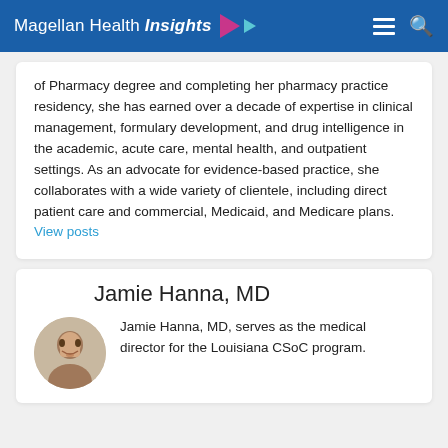Magellan Health Insights
of Pharmacy degree and completing her pharmacy practice residency, she has earned over a decade of expertise in clinical management, formulary development, and drug intelligence in the academic, acute care, mental health, and outpatient settings. As an advocate for evidence-based practice, she collaborates with a wide variety of clientele, including direct patient care and commercial, Medicaid, and Medicare plans. View posts
Jamie Hanna, MD
Jamie Hanna, MD, serves as the medical director for the Louisiana CSoC program.